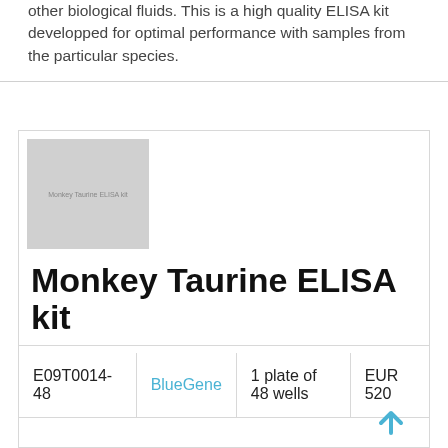other biological fluids. This is a high quality ELISA kit developped for optimal performance with samples from the particular species.
[Figure (photo): Product image placeholder showing 'Monkey Taurine ELISA kit' text on grey background]
Monkey Taurine ELISA kit
| E09T0014-48 | BlueGene | 1 plate of 48 wells | EUR 520 |
| --- | --- | --- | --- |
Description: A competitive ELISA for quantitative measurement of Monkey Taurine in samples from blood, plasma, serum, cell culture supernatant and other biological fluids. This is a high quality ELISA kit